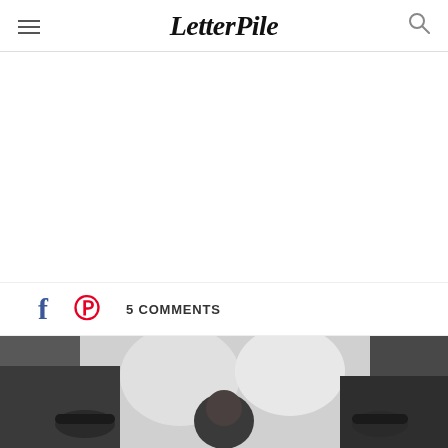LetterPile
[Figure (other): White advertisement/blank area below the header navigation]
5 COMMENTS
[Figure (photo): Person using gym/weight equipment, holding dumbbells, black and white gym photo]